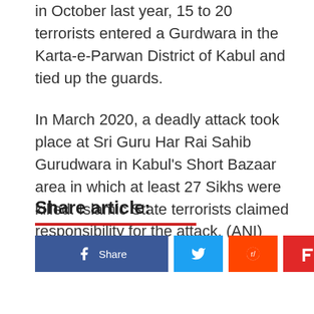in October last year, 15 to 20 terrorists entered a Gurdwara in the Karta-e-Parwan District of Kabul and tied up the guards.
In March 2020, a deadly attack took place at Sri Guru Har Rai Sahib Gurudwara in Kabul's Short Bazaar area in which at least 27 Sikhs were killed. Islamic State terrorists claimed responsibility for the attack. (ANI)
Share article: